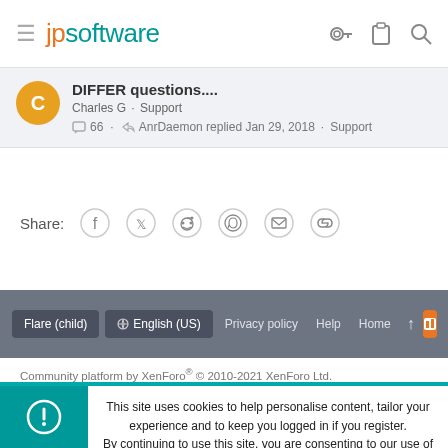jpsoftware
DIFFER questions.... Charles G · Support 66 · AnrDaemon replied Jan 29, 2018 · Support
Share:
Flare (child) | English (US) | Privacy policy | Help | Home
Community platform by XenForo® © 2010-2021 XenForo Ltd.
This site uses cookies to help personalise content, tailor your experience and to keep you logged in if you register. By continuing to use this site, you are consenting to our use of cookies.